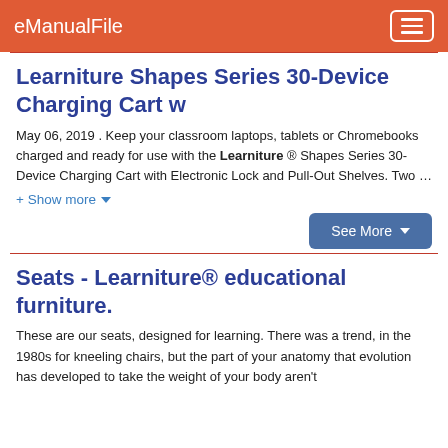eManualFile
Learniture Shapes Series 30-Device Charging Cart w
May 06, 2019 . Keep your classroom laptops, tablets or Chromebooks charged and ready for use with the Learniture ® Shapes Series 30-Device Charging Cart with Electronic Lock and Pull-Out Shelves. Two …
+ Show more ▼
See More ▼
Seats - Learniture® educational furniture.
These are our seats, designed for learning. There was a trend, in the 1980s for kneeling chairs, but the part of your anatomy that evolution has developed to take the weight of your body aren't